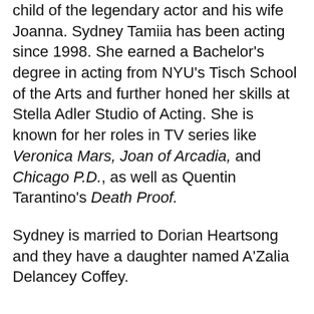child of the legendary actor and his wife Joanna. Sydney Tamiia has been acting since 1998. She earned a Bachelor's degree in acting from NYU's Tisch School of the Arts and further honed her skills at Stella Adler Studio of Acting. She is known for her roles in TV series like Veronica Mars, Joan of Arcadia, and Chicago P.D., as well as Quentin Tarantino's Death Proof.
Sydney is married to Dorian Heartsong and they have a daughter named A'Zalia Delancey Coffey.
Marriage To Joanna Shimkus Was Sidney Poitier's Second